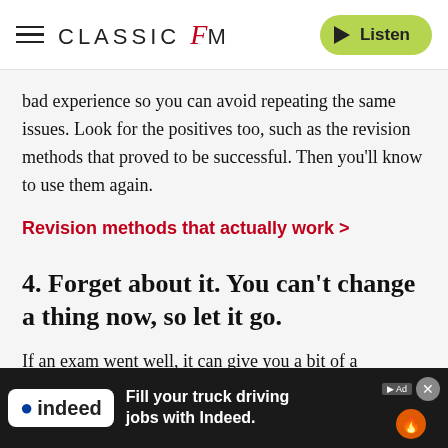CLASSIC fM  Listen
bad experience so you can avoid repeating the same issues. Look for the positives too, such as the revision methods that proved to be successful. Then you'll know to use them again.
Revision methods that actually work >
4. Forget about it. You can't change a thing now, so let it go.
If an exam went well, it can give you a bit of a confidence boost to take with you into the rest of the exam season. But if it didn't go so well, it's best to forget about it. Rethinking a dwelling on it and letting it ne... as a bli...
[Figure (other): Indeed advertisement banner: Fill your truck driving jobs with Indeed.]